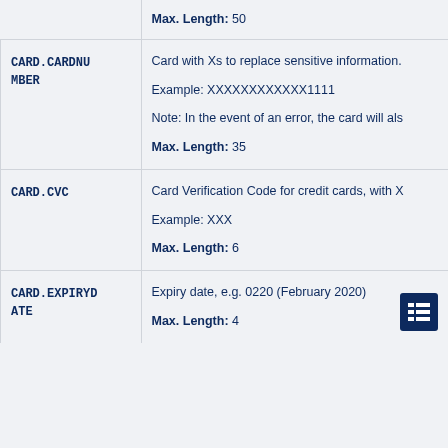| Field | Description |
| --- | --- |
|  | Max. Length: 50 |
| CARD.CARDNUMBER | Card with Xs to replace sensitive information.

Example: XXXXXXXXXXXX1111

Note: In the event of an error, the card will als

Max. Length: 35 |
| CARD.CVC | Card Verification Code for credit cards, with X

Example: XXX

Max. Length: 6 |
| CARD.EXPIRYDATE | Expiry date, e.g. 0220 (February 2020)

Max. Length: 4 |